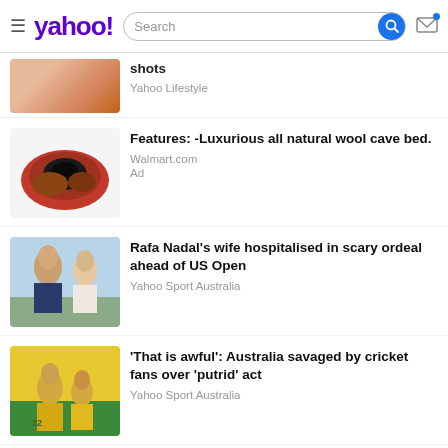yahoo! Search
[Figure (screenshot): Partially visible thumbnail of a woman with blonde hair]
shots
Yahoo Lifestyle
[Figure (photo): Wool cave bed product photo - round reddish-brown felt cave shape]
Features:  -Luxurious all natural wool cave bed.
Walmart.com
Ad
[Figure (photo): Rafa Nadal and his wife smiling outdoors]
Rafa Nadal's wife hospitalised in scary ordeal ahead of US Open
Yahoo Sport Australia
[Figure (photo): Australia cricket players in yellow uniforms, player number 32 visible]
'That is awful': Australia savaged by cricket fans over 'putrid' act
Yahoo Sport Australia